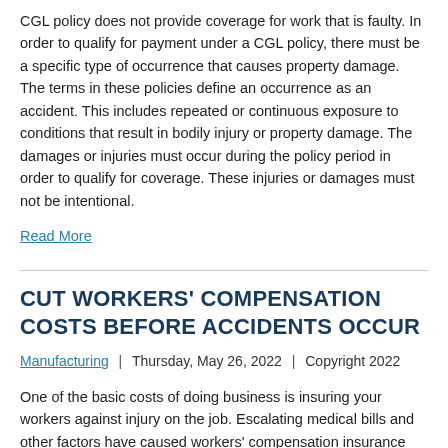CGL policy does not provide coverage for work that is faulty. In order to qualify for payment under a CGL policy, there must be a specific type of occurrence that causes property damage. The terms in these policies define an occurrence as an accident. This includes repeated or continuous exposure to conditions that result in bodily injury or property damage. The damages or injuries must occur during the policy period in order to qualify for coverage. These injuries or damages must not be intentional.
Read More
CUT WORKERS' COMPENSATION COSTS BEFORE ACCIDENTS OCCUR
Manufacturing | Thursday, May 26, 2022 | Copyright 2022
One of the basic costs of doing business is insuring your workers against injury on the job. Escalating medical bills and other factors have caused workers' compensation insurance premiums to increase dramatically. Explore options for reducing the cost of